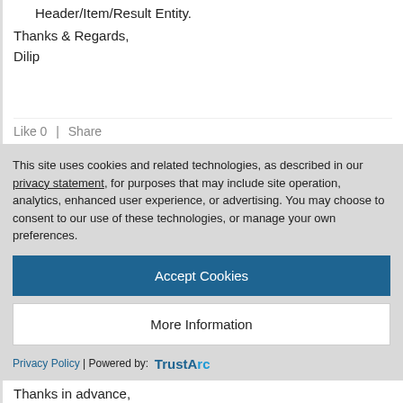Header/Item/Result Entity.
Thanks & Regards,
Dilip
Like 0  |  Share
This site uses cookies and related technologies, as described in our privacy statement, for purposes that may include site operation, analytics, enhanced user experience, or advertising. You may choose to consent to our use of these technologies, or manage your own preferences.
Accept Cookies
More Information
Privacy Policy | Powered by: TrustArc
Thanks in advance,